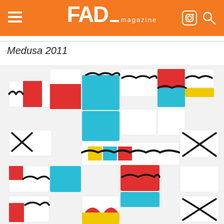FAD magazine
Medusa 2011
[Figure (photo): Artwork titled Medusa 2011 — a sculptural assemblage of 3D rectangular block canvases painted with bold graphic patterns in red, cyan/blue, yellow, and white, connected by black rope/braid motifs forming an interlocking grid-like composition.]